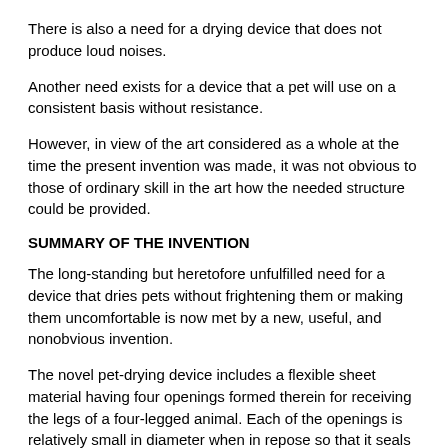There is also a need for a drying device that does not produce loud noises.
Another need exists for a device that a pet will use on a consistent basis without resistance.
However, in view of the art considered as a whole at the time the present invention was made, it was not obvious to those of ordinary skill in the art how the needed structure could be provided.
SUMMARY OF THE INVENTION
The long-standing but heretofore unfulfilled need for a device that dries pets without frightening them or making them uncomfortable is now met by a new, useful, and nonobvious invention.
The novel pet-drying device includes a flexible sheet material having four openings formed therein for receiving the legs of a four-legged animal. Each of the openings is relatively small in diameter when in repose so that it seals around the perimeter of a pet's leg. Each of the openings is lined with a strip of elastic material so that the opening can